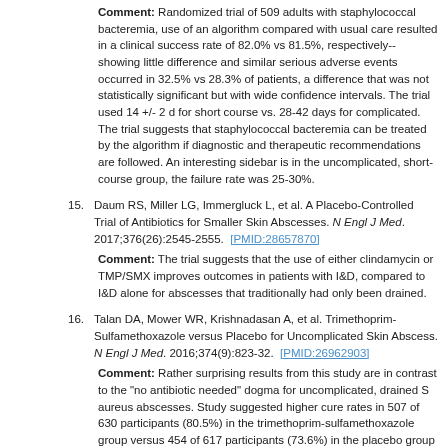Comment: Randomized trial of 509 adults with staphylococcal bacteremia, use of an algorithm compared with usual care resulted in a clinical success rate of 82.0% vs 81.5%, respectively--showing little difference and similar serious adverse events occurred in 32.5% vs 28.3% of patients, a difference that was not statistically significant but with wide confidence intervals. The trial used 14 +/- 2 d for short course vs. 28-42 days for complicated. The trial suggests that staphylococcal bacteremia can be treated by the algorithm if diagnostic and therapeutic recommendations are followed. An interesting sidebar is in the uncomplicated, short-course group, the failure rate was 25-30%.
15. Daum RS, Miller LG, Immergluck L, et al. A Placebo-Controlled Trial of Antibiotics for Smaller Skin Abscesses. N Engl J Med. 2017;376(26):2545-2555. [PMID:28657870]
Comment: The trial suggests that the use of either clindamycin or TMP/SMX improves outcomes in patients with I&D, compared to I&D alone for abscesses that traditionally had only been drained.
16. Talan DA, Mower WR, Krishnadasan A, et al. Trimethoprim-Sulfamethoxazole versus Placebo for Uncomplicated Skin Abscess. N Engl J Med. 2016;374(9):823-32. [PMID:26962903]
Comment: Rather surprising results from this study are in contrast to the "no antibiotic needed" dogma for uncomplicated, drained S aureus abscesses. Study suggested higher cure rates in 507 of 630 participants (80.5%) in the trimethoprim-sulfamethoxazole group versus 454 of 617 participants (73.6%) in the placebo group (difference, 6.9 percentage points; 95% confidence interval [CI], 2.1 to 11.7; P=0.005).